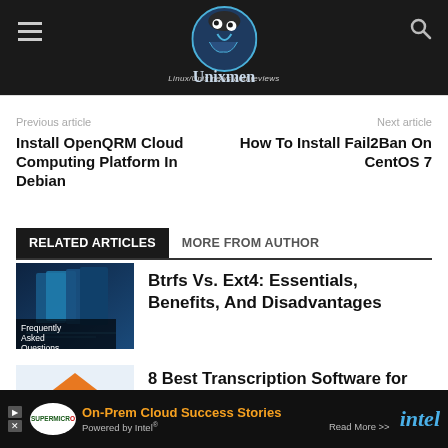Unixmen — Linux/Unix news and reviews
Previous article
Install OpenQRM Cloud Computing Platform In Debian
Next article
How To Install Fail2Ban On CentOS 7
RELATED ARTICLES   MORE FROM AUTHOR
[Figure (photo): Thumbnail showing Frequently Asked Questions image for Btrfs vs Ext4 article]
Btrfs Vs. Ext4: Essentials, Benefits, And Disadvantages
[Figure (illustration): Thumbnail for 8 Best Transcription Software for Linux article]
8 Best Transcription Software for Linux
[Figure (infographic): Advertisement banner: On-Prem Cloud Success Stories Powered by Intel, Read More. Supermicro and Intel logos.]